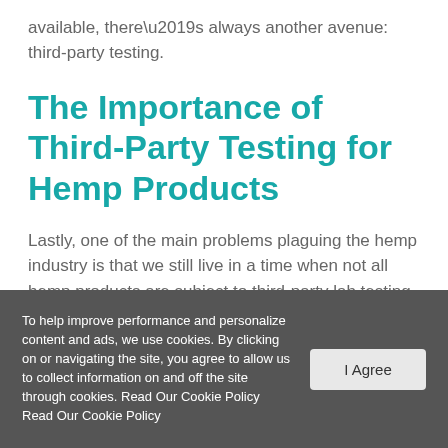available, there’s always another avenue: third-party testing.
The Importance of Third-Party Testing for Hemp Products
Lastly, one of the main problems plaguing the hemp industry is that we still live in a time when not all hemp products are subject to third-party lab testing. Testing remains largely voluntary in
To help improve performance and personalize content and ads, we use cookies. By clicking on or navigating the site, you agree to allow us to collect information on and off the site through cookies. Read Our Cookie Policy Read Our Cookie Policy